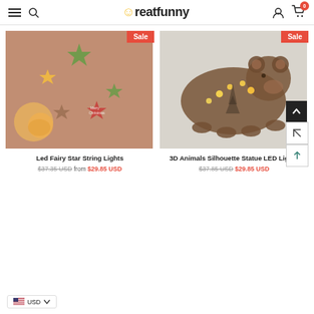Creatfunny — navigation header with hamburger, search, logo, user, cart (0)
[Figure (photo): Christmas LED fairy star string lights photo with colorful stars and candle glow, red Sale badge]
[Figure (photo): 3D bear silhouette statue with LED lights inside, gray background, red Sale badge, scroll-to-top buttons on right]
Led Fairy Star String Lights
$37.35 USD from $29.85 USD
3D Animals Silhouette Statue LED Lights
$37.85 USD $29.85 USD
USD